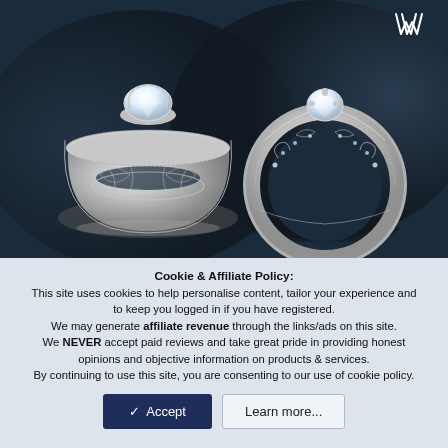[Figure (photo): Two ornate diamond engagement rings with intricate filigree band designs photographed against a dark blue-grey background. Left ring shown at an angle, right ring shown from the front. A jeweler logo appears in the top right corner.]
Cookie & Affiliate Policy:
This site uses cookies to help personalise content, tailor your experience and to keep you logged in if you have registered.
We may generate affiliate revenue through the links/ads on this site.
We NEVER accept paid reviews and take great pride in providing honest opinions and objective information on products & services.
By continuing to use this site, you are consenting to our use of cookie policy.
✓ Accept
Learn more...